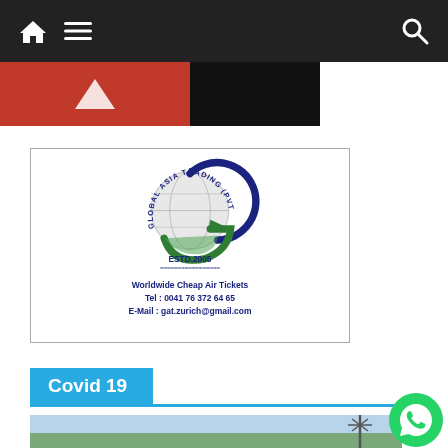Navigation bar with home icon, menu icon, search icon
[Figure (logo): Global Asia Trading (PVT) LTD logo with globe and G-shaped design. Text: ESTD.2005, Worldwide Cheap Air Tickets, Tel: 0041 76 372 64 65, E-Mail: gat.zurich@gmail.com]
Covid 19
[Figure (photo): Landscape photo, partially visible at bottom of page]